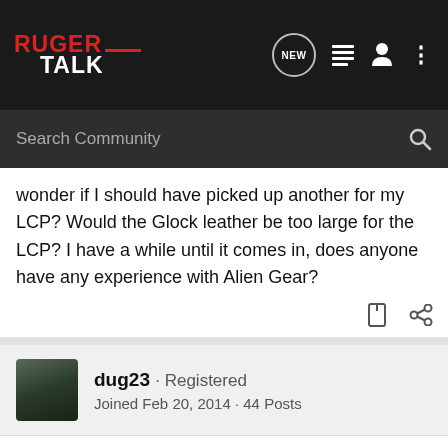Ruger Talk — Search Community nav bar
wonder if I should have picked up another for my LCP? Would the Glock leather be too large for the LCP? I have a while until it comes in, does anyone have any experience with Alien Gear?
dug23 · Registered
Joined Feb 20, 2014 · 44 Posts
#2 · Mar 25, 2014
Ailen gear holsters are great holsters. They have top notch customer service as well. Yes they do take 3 to 4 weeks to ship but they let you know that, its not hidden. I ordered a holster for my SP40C and a extra shell for my PP9CC. I originally ordered...